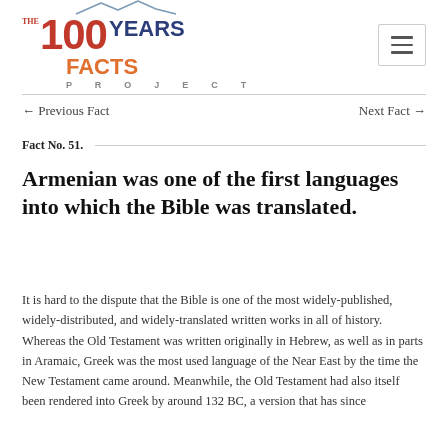[Figure (logo): The 100 Years Facts Project logo with mountain graphic, red 100, blue YEARS, orange FACTS text]
← Previous Fact
Next Fact →
Fact No. 51.
Armenian was one of the first languages into which the Bible was translated.
It is hard to the dispute that the Bible is one of the most widely-published, widely-distributed, and widely-translated written works in all of history. Whereas the Old Testament was written originally in Hebrew, as well as in parts in Aramaic, Greek was the most used language of the Near East by the time the New Testament came around. Meanwhile, the Old Testament had also itself been rendered into Greek by around 132 BC, a version that has since